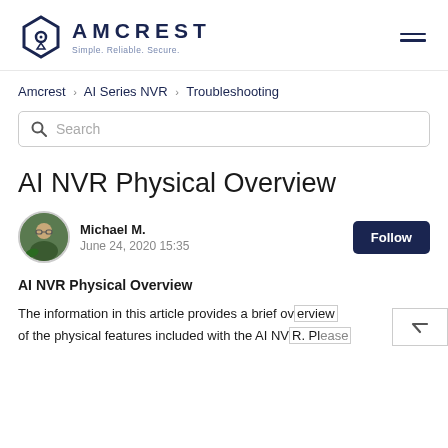[Figure (logo): Amcrest logo with hexagon icon and tagline 'Simple. Reliable. Secure.']
Amcrest > AI Series NVR > Troubleshooting
Search
AI NVR Physical Overview
Michael M.
June 24, 2020 15:35
AI NVR Physical Overview
The information in this article provides a brief overview of the physical features included with the AI NVR. Please